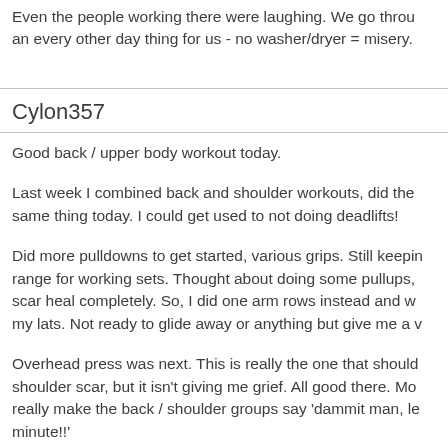Even the people working there were laughing. We go through an every other day thing for us - no washer/dryer = misery.
Cylon357
Good back / upper body workout today.
Last week I combined back and shoulder workouts, did the same thing today. I could get used to not doing deadlifts!
Did more pulldowns to get started, various grips. Still keeping range for working sets. Thought about doing some pullups, scar heal completely. So, I did one arm rows instead and w my lats. Not ready to glide away or anything but give me a w
Overhead press was next. This is really the one that should shoulder scar, but it isn't giving me grief. All good there. Mo really make the back / shoulder groups say 'dammit man, le minute!!'
So I did. I moved on to push downs, alternated with super li of 20. 3 sets each of those but wait, there's more! I did 3 se to let the delts know who the boss really is.